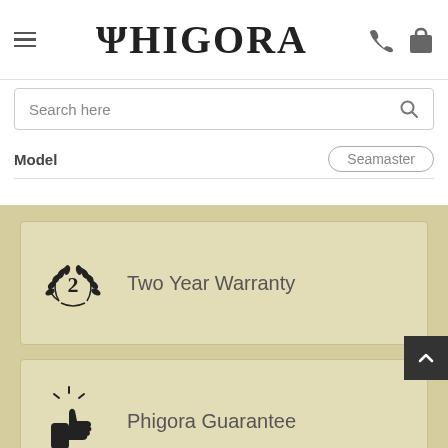PHIGORA
Search here
Model   Seamaster
[Figure (infographic): Two feature cards on tan/khaki background: 1) Laurel wreath with number 2 icon and text 'Two Year Warranty'; 2) Thumbs-up icon and text 'Phigora Guarantee']
Two Year Warranty
Phigora Guarantee